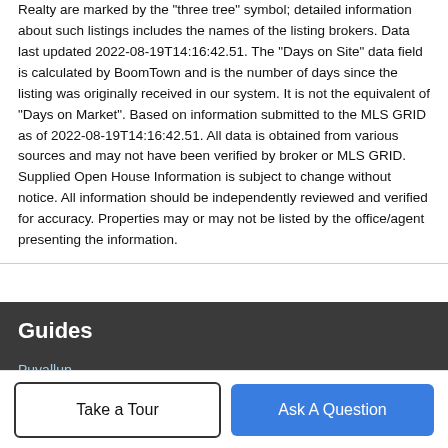Realty are marked by the "three tree" symbol; detailed information about such listings includes the names of the listing brokers. Data last updated 2022-08-19T14:16:42.51. The "Days on Site" data field is calculated by BoomTown and is the number of days since the listing was originally received in our system. It is not the equivalent of "Days on Market". Based on information submitted to the MLS GRID as of 2022-08-19T14:16:42.51. All data is obtained from various sources and may not have been verified by broker or MLS GRID. Supplied Open House Information is subject to change without notice. All information should be independently reviewed and verified for accuracy. Properties may or may not be listed by the office/agent presenting the information.
Guides
Puyallup
Tacoma
DuPont
Take a Tour
Ask A Question